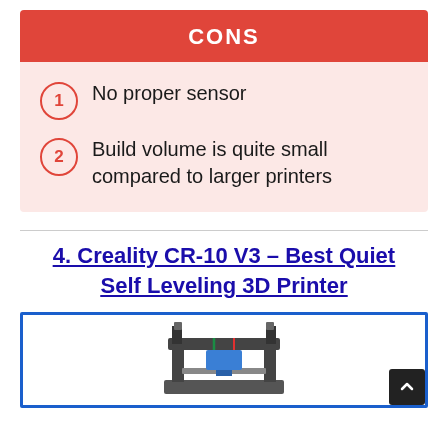CONS
1 No proper sensor
2 Build volume is quite small compared to larger printers
4. Creality CR-10 V3 – Best Quiet Self Leveling 3D Printer
[Figure (photo): Photo of the Creality CR-10 V3 3D printer, partially visible, inside a blue-bordered box]